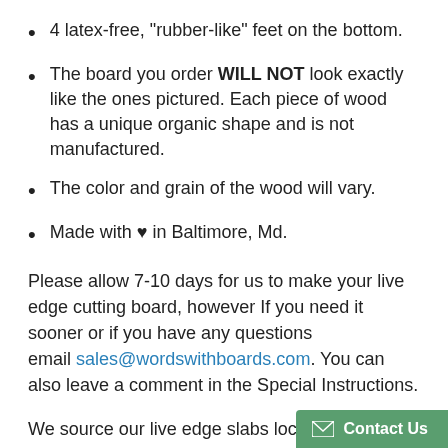4 latex-free, "rubber-like" feet on the bottom.
The board you order WILL NOT look exactly like the ones pictured. Each piece of wood has a unique organic shape and is not manufactured.
The color and grain of the wood will vary.
Made with ♥ in Baltimore, Md.
Please allow 7-10 days for us to make your live edge cutting board, however If you need it sooner or if you have any questions email sales@wordswithboards.com. You can also leave a comment in the Special Instructions.
We source our live edge slabs locally and it all from fallen trees. We hand-pick ea